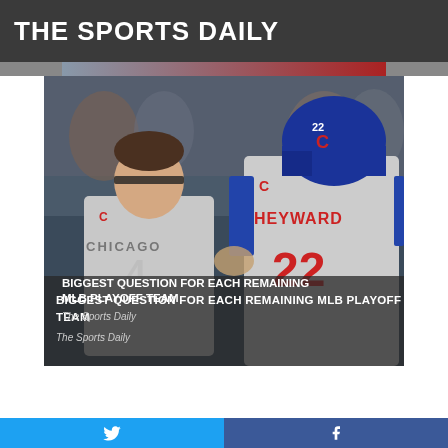THE SPORTS DAILY
[Figure (photo): Chicago Cubs players, including player wearing Heyward #22 jersey, celebrating in dugout/field area]
BIGGEST QUESTION FOR EACH REMAINING MLB PLAYOFF TEAM
The Sports Daily